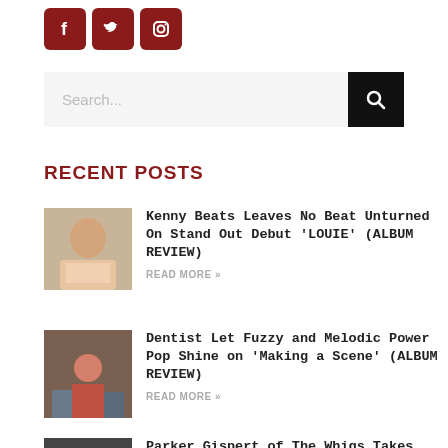[Figure (infographic): Three social media icon buttons: Facebook, Twitter, Instagram — dark red square rounded icons with white SVG logos]
[Figure (screenshot): Search bar with placeholder text 'Search...' and a black search button with magnifying glass icon]
RECENT POSTS
[Figure (photo): Thumbnail photo of a man in a pink shirt seated outdoors]
Kenny Beats Leaves No Beat Unturned On Stand Out Debut 'LOUIE' (ALBUM REVIEW)
READ MORE »
[Figure (photo): Thumbnail photo of a band with a woman in red seated in a chair and two people on the floor]
Dentist Let Fuzzy and Melodic Power Pop Shine on 'Making a Scene' (ALBUM REVIEW)
READ MORE »
[Figure (photo): Black and white thumbnail photo of a person]
Parker Gispert of The Whigs Takes Rock-focused Approach on 'Golden